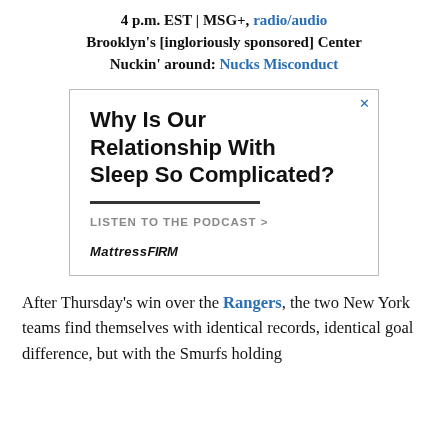4 p.m. EST | MSG+, radio/audio
Brooklyn's [ingloriously sponsored] Center
Nuckin' around: Nucks Misconduct
[Figure (other): Advertisement for Mattress Firm podcast. Headline: 'Why Is Our Relationship With Sleep So Complicated?' with a horizontal divider, CTA 'LISTEN TO THE PODCAST >' and MattressFirm logo. Has close (x) button.]
After Thursday's win over the Rangers, the two New York teams find themselves with identical records, identical goal difference, but with the Smurfs holding